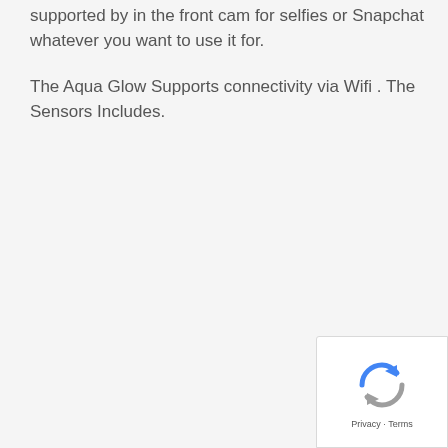supported by in the front cam for selfies or Snapchat whatever you want to use it for.
The Aqua Glow Supports connectivity via Wifi . The Sensors Includes.
[Figure (logo): Google reCAPTCHA badge with rotating arrows icon and Privacy · Terms links]